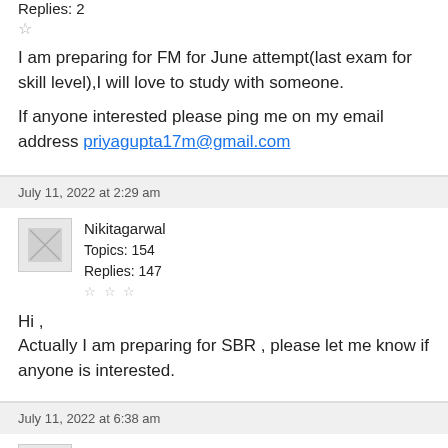Replies: 2
I am preparing for FM for June attempt(last exam for skill level),I will love to study with someone.
If anyone interested please ping me on my email address priyagupta17m@gmail.com
July 11, 2022 at 2:29 am
Nikitagarwal
Topics: 154
Replies: 147
Hi ,
Actually I am preparing for SBR , please let me know if anyone is interested.
July 11, 2022 at 6:38 am
mrjonbain